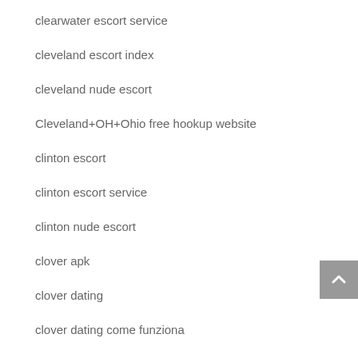clearwater escort service
cleveland escort index
cleveland nude escort
Cleveland+OH+Ohio free hookup website
clinton escort
clinton escort service
clinton nude escort
clover apk
clover dating
clover dating come funziona
clover dating visitors
clover dating web
clover visitors
clover-dating-overzicht Review
clovis escort recursos